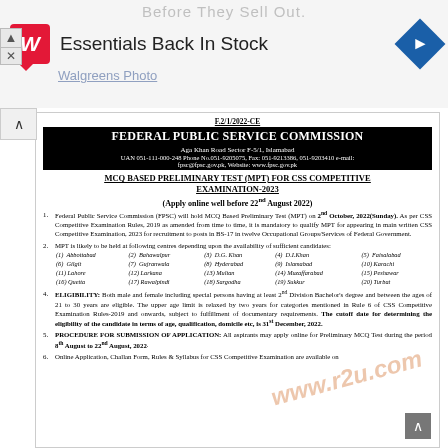[Figure (screenshot): Walgreens advertisement banner: 'Essentials Back In Stock', Walgreens logo (red W), navigation arrow icon, faded subtext 'Walgreens Photo']
F.2/1/2022-CE
FEDERAL PUBLIC SERVICE COMMISSION
Aga Khan Road Sector F-5/1, Islamabad
UAN 051-111-000-248 Phone No.051-9205075, Fax: 051-9213386, 051-9203410 e-mail: fpsc@fpsc.gov.pk, Website: www.fpsc.gov.pk
MCQ BASED PRELIMINARY TEST (MPT) FOR CSS COMPETITIVE EXAMINATION-2023
(Apply online well before 22nd August 2022)
Federal Public Service Commission (FPSC) will hold MCQ Based Preliminary Test (MPT) on 2nd October, 2022(Sunday). As per CSS Competitive Examination Rules, 2019 as amended from time to time, it is mandatory to qualify MPT for appearing in main written CSS Competitive Examination, 2023 for recruitment to posts in BS-17 in twelve Occupational Groups/Services of Federal Government.
MPT is likely to be held at following centres depending upon the availability of sufficient candidates:
| (1) Abbottabad | (2) Bahawalpur | (3) D.G. Khan | (4) D.I.Khan | (5) Faisalabad |
| (6) Gilgit | (7) Gujranwala | (8) Hyderabad | (9) Islamabad | (10) Karachi |
| (11) Lahore | (12) Larkana | (13) Multan | (14) Muzaffarabad | (15) Peshawar |
| (16) Quetta | (17) Rawalpindi | (18) Sargodha | (19) Sukkur | (20) Turbat |
ELIGIBILITY: Both male and female including special persons having at least 2nd Division Bachelor's degree and between the ages of 21 to 30 years are eligible. The upper age limit is relaxed by two years for categories mentioned in Rule 6 of CSS Competitive Examination Rules-2019 and onwards, subject to fulfillment of documentary requirements. The cutoff date for determining the eligibility of the candidate in terms of age, qualification, domicile etc, is 31st December, 2022.
PROCEDURE FOR SUBMISSION OF APPLICATION: All aspirants may apply online for Preliminary MCQ Test during the period 8th August to 22nd August, 2022.
Online Application, Challan Form, Rules & Syllabus for CSS Competitive Examination are available on